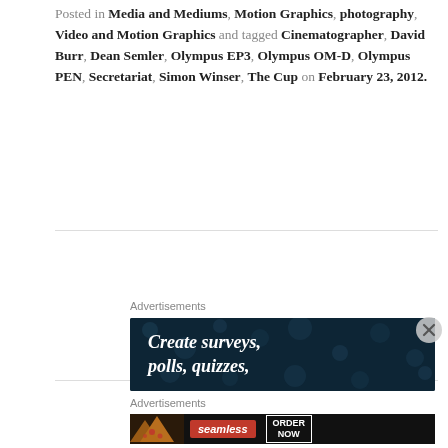Posted in Media and Mediums, Motion Graphics, photography, Video and Motion Graphics and tagged Cinematographer, David Burr, Dean Semler, Olympus EP3, Olympus OM-D, Olympus PEN, Secretariat, Simon Winser, The Cup on February 23, 2012.
Advertisements
[Figure (photo): Advertisement banner: dark navy background with bokeh dots. Text reads 'Create surveys, polls, quizzes,' in white italic serif font.]
Advertisements
[Figure (photo): Seamless food delivery advertisement. Shows pizza slices on the left, Seamless logo in red, and 'ORDER NOW' button in white border.]